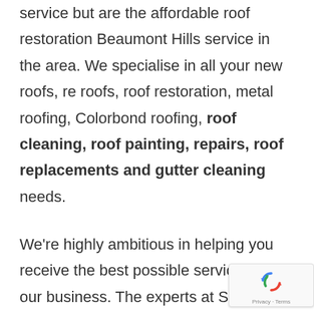service but are the affordable roof restoration Beaumont Hills service in the area. We specialise in all your new roofs, re roofs, roof restoration, metal roofing, Colorbond roofing, roof cleaning, roof painting, repairs, roof replacements and gutter cleaning needs.
We're highly ambitious in helping you receive the best possible service from our business. The experts at Spectra have worked on